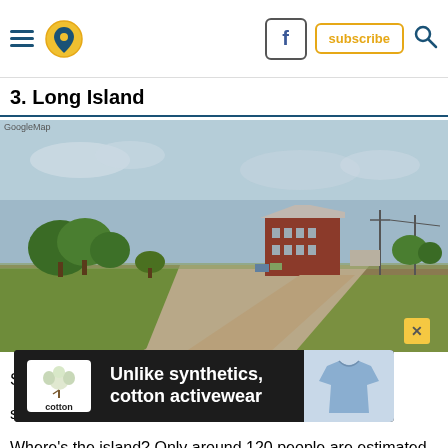Navigation header with hamburger menu, location icon, Facebook button, subscribe button, search icon
3. Long Island
[Figure (photo): Street-level photo of a rural area in Long Island, Kansas, showing a gravel road leading to a two-story red brick building, surrounded by green trees and flat open land under a blue-grey sky. GoogleMaps watermark at bottom left.]
Sometimes you want to ask someone to name a place something like Long Island. Where's the island? Only around 120 people are estimated to live there now, so it's definitely a far cry from the famous